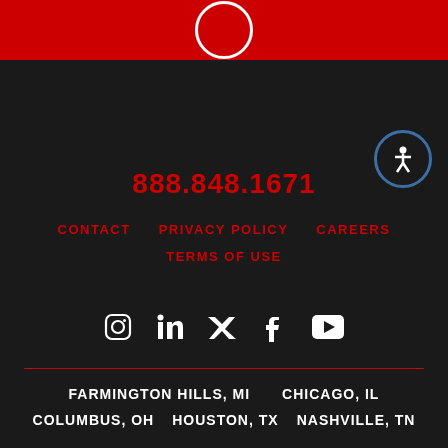[Figure (logo): Red bar with partial logo circle at top]
[Figure (illustration): Accessibility icon — person figure in blue-bordered circle]
888.848.1671
CONTACT
PRIVACY POLICY
CAREERS
TERMS OF USE
[Figure (illustration): Social media icons: Instagram, LinkedIn, Twitter/X, Facebook, YouTube]
FARMINGTON HILLS, MI    CHICAGO, IL
COLUMBUS, OH    HOUSTON, TX    NASHVILLE, TN
© 2022 FRIEDMAN REAL ESTATE